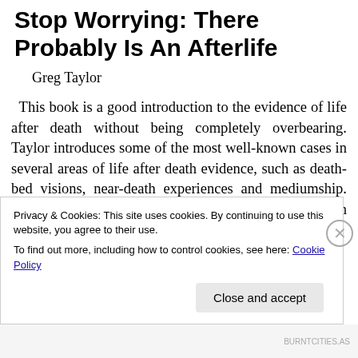Stop Worrying: There Probably Is An Afterlife
Greg Taylor
This book is a good introduction to the evidence of life after death without being completely overbearing. Taylor introduces some of the most well-known cases in several areas of life after death evidence, such as death-bed visions, near-death experiences and mediumship. Also provided is the history of spiritual development in the 1800's and the interesting cases that provided a
Privacy & Cookies: This site uses cookies. By continuing to use this website, you agree to their use.
To find out more, including how to control cookies, see here: Cookie Policy
Close and accept